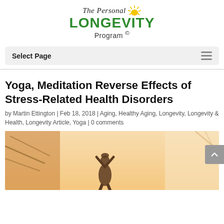[Figure (logo): The Personal Longevity Program logo with sun graphic and green LONGEVITY text]
Select Page
Yoga, Meditation Reverse Effects of Stress-Related Health Disorders
by Martin Ettington | Feb 18, 2018 | Aging, Healthy Aging, Longevity, Longevity & Health, Longevity Article, Yoga | 0 comments
[Figure (photo): Person doing yoga pose (hands raised overhead) seen from behind against a bright warm sky with palm fronds visible]